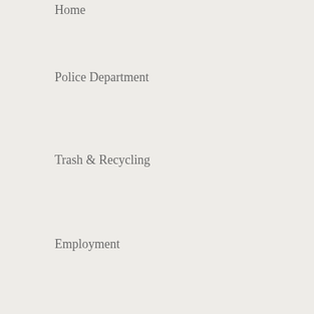Home
Police Department
Trash & Recycling
Employment
Alert Bowie
Agendas & Minutes
View Council Meetings
Committee Meetings
Request Service | Ask Question